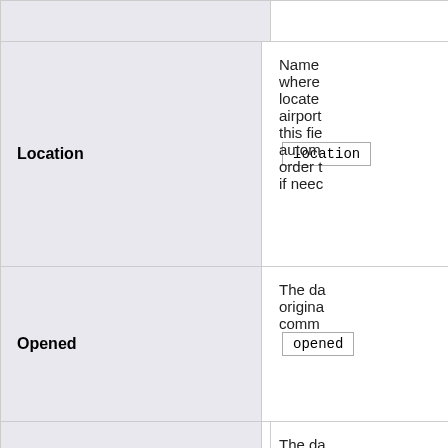| Field Name | Code | Description |
| --- | --- | --- |
| Location | location | Name where located airport this fie autom order t if neec |
| Opened | opened | The da origina comm |
|  |  | The da closec |